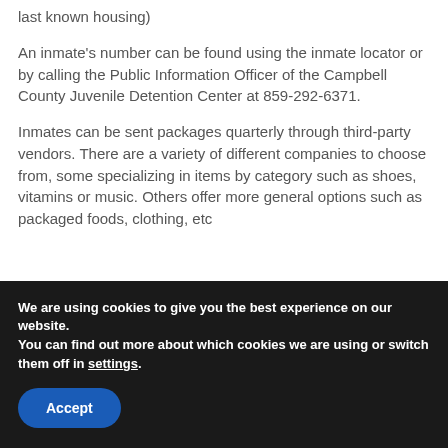last known housing)
An inmate's number can be found using the inmate locator or by calling the Public Information Officer of the Campbell County Juvenile Detention Center at 859-292-6371.
Inmates can be sent packages quarterly through third-party vendors. There are a variety of different companies to choose from, some specializing in items by category such as shoes, vitamins or music. Others offer more general options such as packaged foods, clothing, etc
We are using cookies to give you the best experience on our website.
You can find out more about which cookies we are using or switch them off in settings.